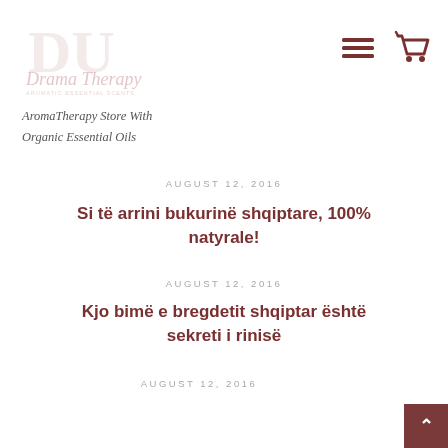[Figure (logo): AromaTherapy store logo with decorative monogram and script text, faded/watermark style]
[Figure (infographic): Hamburger menu icon and shopping cart icon in dark brown/maroon color]
AromaTherapy Store With Organic Essential Oils
AUGUST 12, 2016
Si të arrini bukurinë shqiptare, 100% natyrale!
AUGUST 12, 2016
Kjo bimë e bregdetit shqiptar është sekreti i rinisë
AUGUST 12, 2016